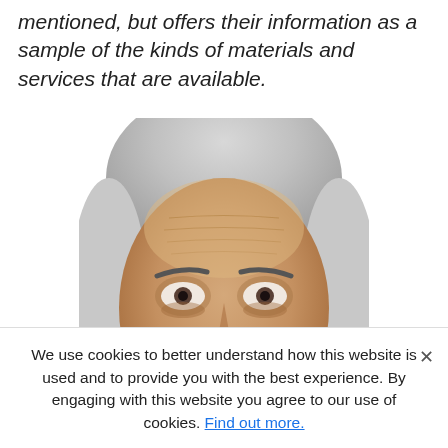mentioned, but offers their information as a sample of the kinds of materials and services that are available.
[Figure (photo): Close-up portrait photo of an elderly man with grey/white hair, prominent brow wrinkles, and grey eyebrows, photographed against a white background.]
We use cookies to better understand how this website is used and to provide you with the best experience. By engaging with this website you agree to our use of cookies. Find out more.